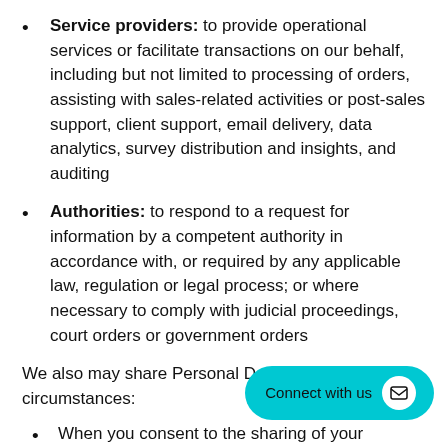Service providers: to provide operational services or facilitate transactions on our behalf, including but not limited to processing of orders, assisting with sales-related activities or post-sales support, client support, email delivery, data analytics, survey distribution and insights, and auditing
Authorities: to respond to a request for information by a competent authority in accordance with, or required by any applicable law, regulation or legal process; or where necessary to comply with judicial proceedings, court orders or government orders
We also may share Personal Data in the following circumstances:
When you consent to the sharing of your Personal Data
In connection with, any joint venture, merger, sale of company assets, consolidation or restructuring